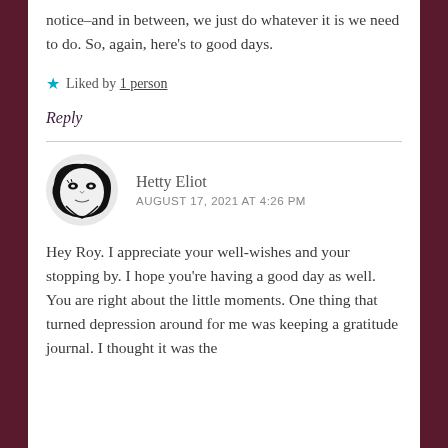notice–and in between, we just do whatever it is we need to do. So, again, here’s to good days.
★ Liked by 1 person
Reply
[Figure (illustration): Avatar image of blog commenter Hetty Eliot: black and white stylized face illustration]
Hetty Eliot
AUGUST 17, 2021 AT 4:26 PM
Hey Roy. I appreciate your well-wishes and your stopping by. I hope you’re having a good day as well. You are right about the little moments. One thing that turned depression around for me was keeping a gratitude journal. I thought it was the dumbest thing but. It is the closest